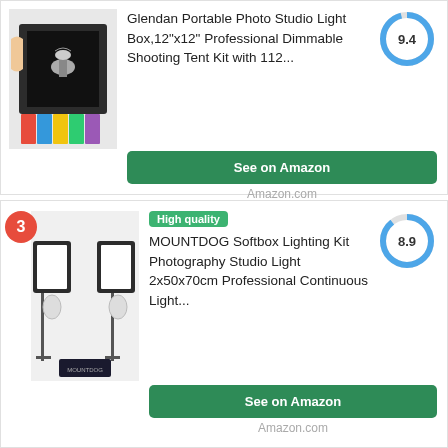[Figure (photo): Glendan Portable Photo Studio light box product image showing jewelry on display stand with colored backdrops]
Glendan Portable Photo Studio Light Box,12"x12" Professional Dimmable Shooting Tent Kit with 112...
[Figure (donut-chart): Score]
See on Amazon
Amazon.com
High quality
[Figure (photo): MOUNTDOG Softbox Lighting Kit product image showing two softbox lights on stands with spiral bulbs and carrying case]
MOUNTDOG Softbox Lighting Kit Photography Studio Light 2x50x70cm Professional Continuous Light...
[Figure (donut-chart): Score]
See on Amazon
Amazon.com
[Figure (photo): Neewer 2.6M x 3M/8.5ft x 10ft product image - partial view]
Neewer 2.6M x 3M/8.5ft x 10ft
[Figure (donut-chart): Score]